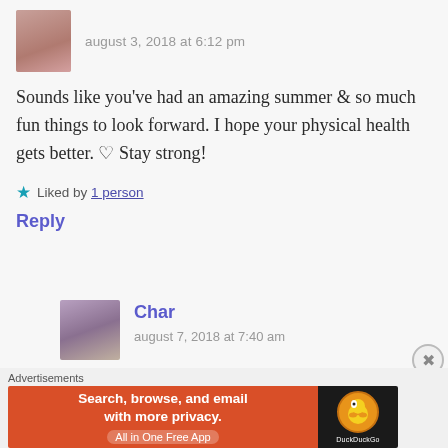[Figure (photo): Profile photo of a woman with dark hair against a light background]
august 3, 2018 at 6:12 pm
Sounds like you've had an amazing summer & so much fun things to look forward. I hope your physical health gets better. ♡ Stay strong!
★ Liked by 1 person
Reply
[Figure (photo): Profile photo of Char, a young woman with long dark hair]
Char
august 7, 2018 at 7:40 am
Advertisements
[Figure (screenshot): DuckDuckGo advertisement banner: Search, browse, and email with more privacy. All in One Free App]